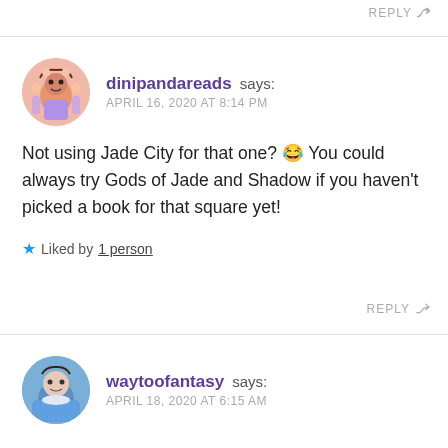REPLY
dinipandareads says:
APRIL 16, 2020 AT 8:14 PM
Not using Jade City for that one? 😂 You could always try Gods of Jade and Shadow if you haven't picked a book for that square yet!
★ Liked by 1 person
REPLY
waytoofantasy says:
APRIL 18, 2020 AT 6:15 AM